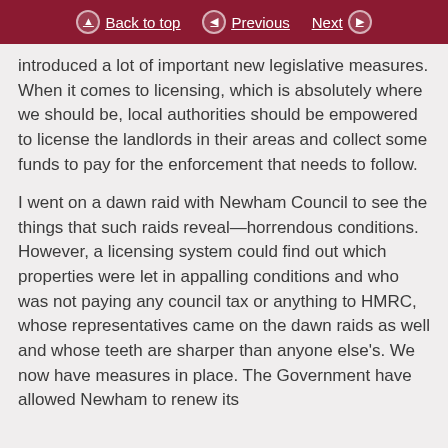Back to top | Previous | Next
introduced a lot of important new legislative measures. When it comes to licensing, which is absolutely where we should be, local authorities should be empowered to license the landlords in their areas and collect some funds to pay for the enforcement that needs to follow.
I went on a dawn raid with Newham Council to see the things that such raids reveal—horrendous conditions. However, a licensing system could find out which properties were let in appalling conditions and who was not paying any council tax or anything to HMRC, whose representatives came on the dawn raids as well and whose teeth are sharper than anyone else's. We now have measures in place. The Government have allowed Newham to renew its